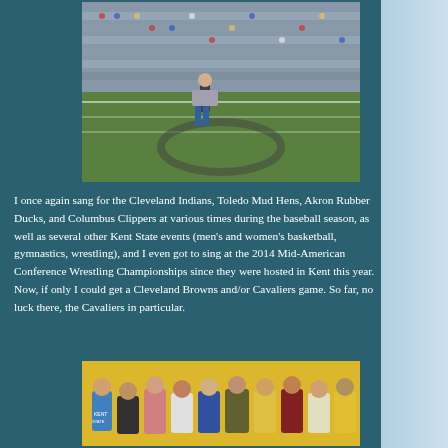[Figure (photo): A person standing on a football field at a stadium with stands full of spectators in the background, holding a microphone or camera, wearing jeans and a grey jacket.]
I once again sang for the Cleveland Indians, Toledo Mud Hens, Akron Rubber Ducks, and Columbus Clippers at various times during the baseball season, as well as several other Kent State events (men's and women's basketball, gymnastics, wrestling), and I even got to sing at the 2014 Mid-American Conference Wrestling Championships since they were hosted in Kent this year. Now, if only I could get a Cleveland Browns and/or Cavaliers game. So far, no luck there, the Cavaliers in particular.
[Figure (photo): A crowd of spectators seated in yellow arena seats, some wearing Kent State apparel, at an indoor sports event.]